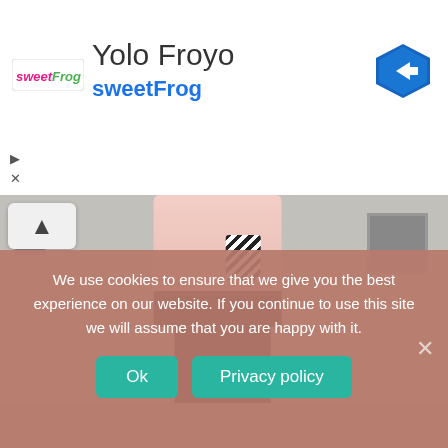[Figure (screenshot): SweetFrog frozen yogurt advertisement banner with logo, 'Yolo Froyo' title, and navigation arrow icon]
[Figure (photo): Fashion photo of a person wearing a pink blazer, black lace mini skirt, and black tights, standing on a city street]
We use cookies to ensure that we give you the best experience on our website. If you continue to use this site we will assume that you are happy with it.
Ok
Privacy policy